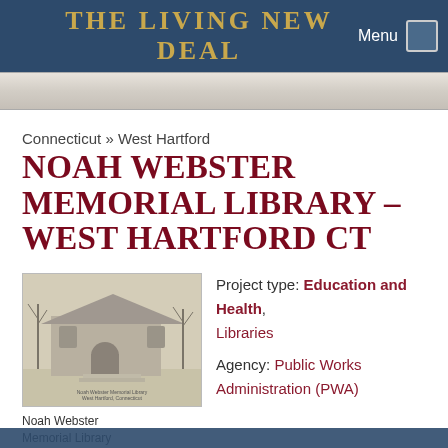THE LIVING NEW DEAL
Connecticut » West Hartford
NOAH WEBSTER MEMORIAL LIBRARY – WEST HARTFORD CT
[Figure (photo): Black and white photograph of Noah Webster Memorial Library building exterior with bare trees in foreground]
Noah Webster Memorial Library
Project type: Education and Health, Libraries
Agency: Public Works Administration (PWA)